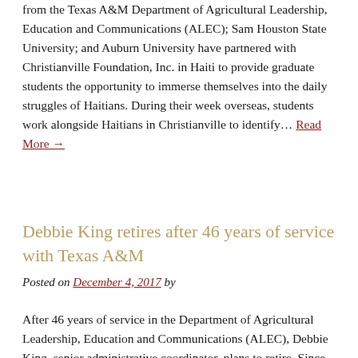from the Texas A&M Department of Agricultural Leadership, Education and Communications (ALEC); Sam Houston State University; and Auburn University have partnered with Christianville Foundation, Inc. in Haiti to provide graduate students the opportunity to immerse themselves into the daily struggles of Haitians. During their week overseas, students work alongside Haitians in Christianville to identify… Read More →
Debbie King retires after 46 years of service with Texas A&M
Posted on December 4, 2017 by
After 46 years of service in the Department of Agricultural Leadership, Education and Communications (ALEC), Debbie King, senior administrative coordinator, plans to retire. Since 1971, King has served as the assistant to all ALEC